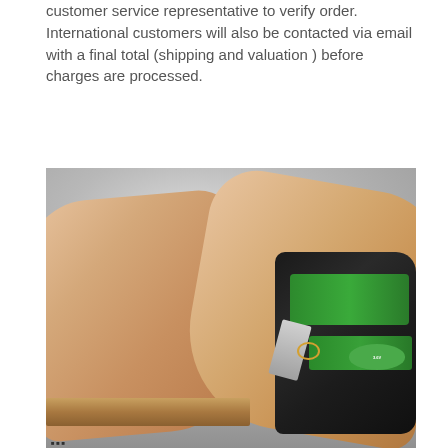customer service representative to verify order. International customers will also be contacted via email with a final total (shipping and valuation ) before charges are processed.
[Figure (photo): A person's hands using a green and black power drill or staple gun on a piece of wood trim or molding. The photo shows close-up of the hands and tool against a light gray background.]